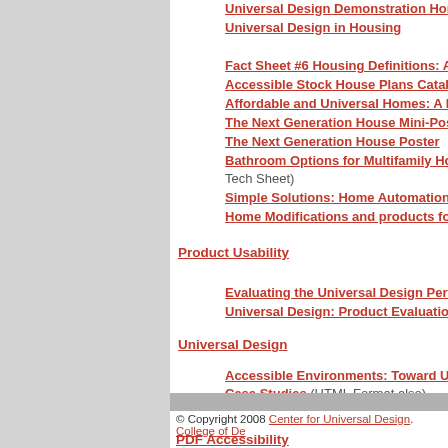Universal Design Demonstration Home
Universal Design in Housing
Fact Sheet #6 Housing Definitions: Acc...
Accessible Stock House Plans Catalog
Affordable and Universal Homes: A Pl...
The Next Generation House Mini-Poster
The Next Generation House Poster
Bathroom Options for Multifamily Hous... Tech Sheet)
Simple Solutions: Home Automation fo...
Home Modifications and products for S...
Product Usability
Evaluating the Universal Design Perfo...
Universal Design: Product Evaluation G...
Universal Design
Accessible Environments: Toward Uni...
Case Studies (HTML Format also)
Housing for the Lifespan of All People
Principles of Universal Design
Universal Design File
The Principles of Universal Design Pos...
© Copyright 2008 Center for Universal Design. College of De...
PDF Accessibility